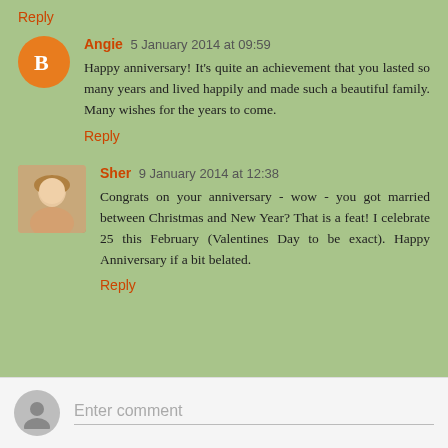Reply
Angie 5 January 2014 at 09:59
Happy anniversary! It's quite an achievement that you lasted so many years and lived happily and made such a beautiful family. Many wishes for the years to come.
Reply
Sher 9 January 2014 at 12:38
Congrats on your anniversary - wow - you got married between Christmas and New Year? That is a feat! I celebrate 25 this February (Valentines Day to be exact). Happy Anniversary if a bit belated.
Reply
Enter comment